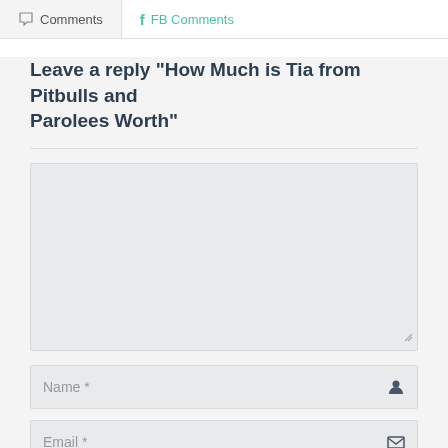Comments
FB Comments
Leave a reply "How Much is Tia from Pitbulls and Parolees Worth"
[Figure (screenshot): Comment form with textarea for comment text, Name field with user icon, Email field with envelope icon, and Website field. A 'Top' button is visible in bottom right corner.]